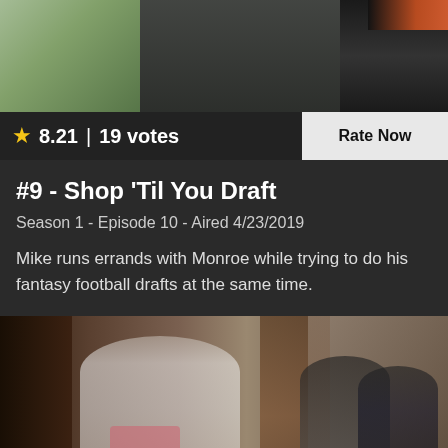[Figure (photo): Top portion of a TV show scene showing a person holding a phone/tablet, with a window/outdoor area visible on the left]
★ 8.21 | 19 votes
Rate Now
#9 - Shop 'Til You Draft
Season 1 - Episode 10 - Aired 4/23/2019
Mike runs errands with Monroe while trying to do his fantasy football drafts at the same time.
[Figure (photo): Bottom photo showing three men in an indoor setting with wood doors and stone wall background; man on left in white shirt holding a baby]